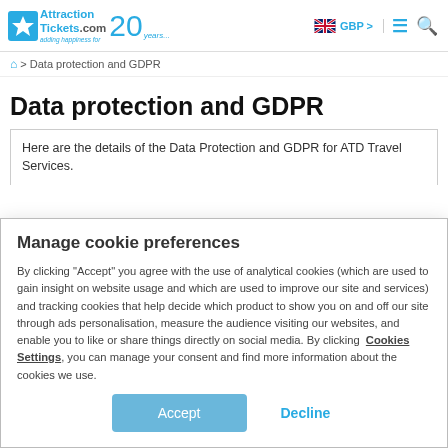AttractionTickets.com 20 years — GBP
> Data protection and GDPR
Data protection and GDPR
Here are the details of the Data Protection and GDPR for ATD Travel Services.
Manage cookie preferences
By clicking "Accept" you agree with the use of analytical cookies (which are used to gain insight on website usage and which are used to improve our site and services) and tracking cookies that help decide which product to show you on and off our site through ads personalisation, measure the audience visiting our websites, and enable you to like or share things directly on social media. By clicking Cookies Settings, you can manage your consent and find more information about the cookies we use.
Accept | Decline